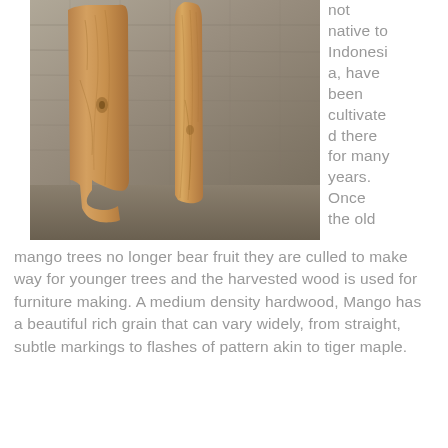[Figure (photo): Two tall wooden planks with live edges leaning against a stone/brick wall background. The wood shows rich grain patterns typical of mango wood. Planks stand on a concrete floor.]
not native to Indonesia, have been cultivated there for many years. Once the old mango trees no longer bear fruit they are culled to make way for younger trees and the harvested wood is used for furniture making. A medium density hardwood, Mango has a beautiful rich grain that can vary widely, from straight, subtle markings to flashes of pattern akin to tiger maple.